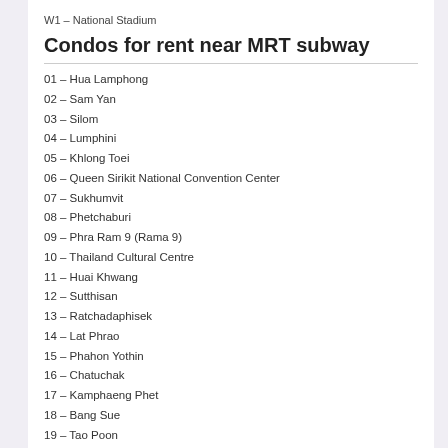W1 – National Stadium
Condos for rent near MRT subway
01 – Hua Lamphong
02 – Sam Yan
03 – Silom
04 – Lumphini
05 – Khlong Toei
06 – Queen Sirikit National Convention Center
07 – Sukhumvit
08 – Phetchaburi
09 – Phra Ram 9 (Rama 9)
10 – Thailand Cultural Centre
11 – Huai Khwang
12 – Sutthisan
13 – Ratchadaphisek
14 – Lat Phrao
15 – Phahon Yothin
16 – Chatuchak
17 – Kamphaeng Phet
18 – Bang Sue
19 – Tao Poon